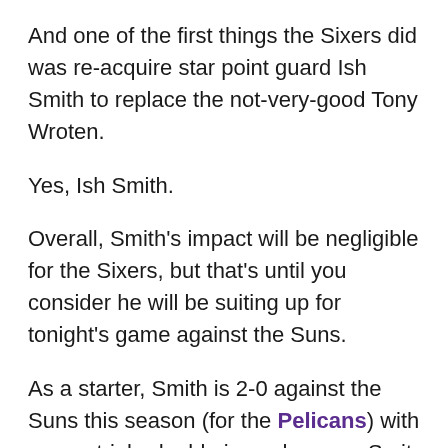And one of the first things the Sixers did was re-acquire star point guard Ish Smith to replace the not-very-good Tony Wroten.
Yes, Ish Smith.
Overall, Smith's impact will be negligible for the Sixers, but that's until you consider he will be suiting up for tonight's game against the Suns.
As a starter, Smith is 2-0 against the Suns this season (for the Pelicans) with a near triple-double in each game. So it stands to reason that "The Ish strikes back" will be a running theme tonight when he suits up for the Sixers.
The Suns